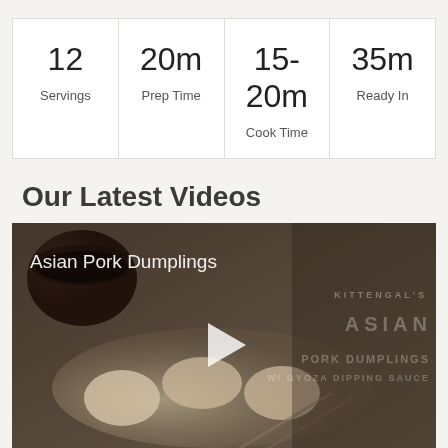| 12
Servings | 20m
Prep Time | 15-20m
Cook Time | 35m
Ready In |
Our Latest Videos
[Figure (photo): Video thumbnail for Asian Pork Dumplings showing dumplings and a bowl of dipping sauce, with play button overlay and text overlay reading KITTENGAL'S ASIAN PORK DUMPLINGS W/ GYOZA DIPPING SAUCE]